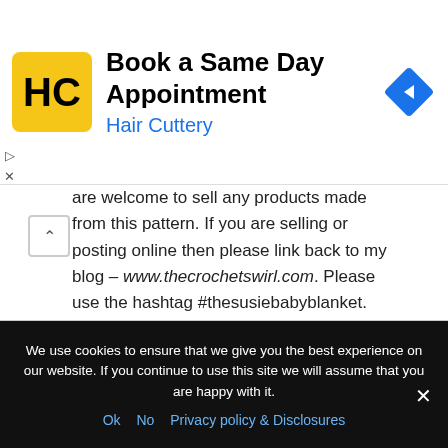[Figure (screenshot): Hair Cuttery advertisement banner with logo, title 'Book a Same Day Appointment', brand name 'Hair Cuttery', and navigation icon]
are welcome to sell any products made from this pattern. If you are selling or posting online then please link back to my blog – www.thecrochetswirl.com. Please use the hashtag #thesusiebabyblanket.
Please let me know if you think there is any problems with this page or if you spot a mistake – I am human after all.
I hope that you love the item that you create from it.
We use cookies to ensure that we give you the best experience on our website. If you continue to use this site we will assume that you are happy with it.
Ok  No  Privacy policy & Disclosures